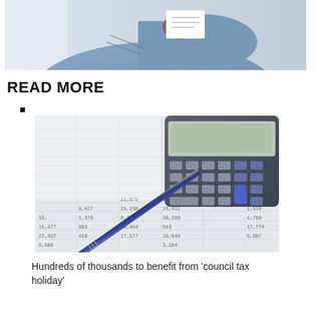[Figure (photo): Person in blue shirt holding a paper/document, partial view of torso and hand]
READ MORE
■
[Figure (photo): Close-up of a blue pen and a dark calculator resting on a spreadsheet with financial numbers]
Hundreds of thousands to benefit from 'council tax holiday'